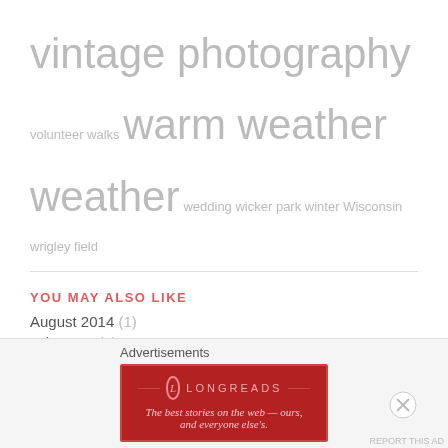vintage photography volunteer walks warm weather weather wedding wicker park winter Wisconsin wrigley field
YOU MAY ALSO LIKE
August 2014 (1)
July 2014 (5)
June 2014 (7)
May 2014 (7)
April 2014 (11)
March 2014 (13)
February 2014 (5)
January 2014 (5)
June 2013 (1)
Advertisements
[Figure (other): Longreads advertisement banner: 'The best stories on the web — ours, and everyone else's.']